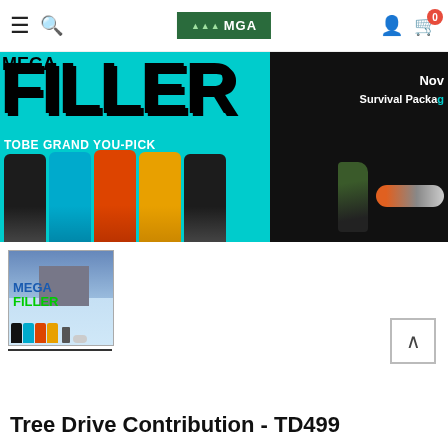MGA — navigation bar with hamburger menu, search, logo, user icon, cart (0)
[Figure (photo): Banner image: MEGA FILLER in large teal/black letters, TOBE GRAND YOU-PICK text below, Survival Package text on right side, rows of colorful snowmobile suits (black, blue, orange, yellow, black) and survival tools (axe, saw)]
[Figure (photo): Thumbnail image of MEGA FILLER product showing small suits in various colors and survival tools, underlined]
Tree Drive Contribution - TD499